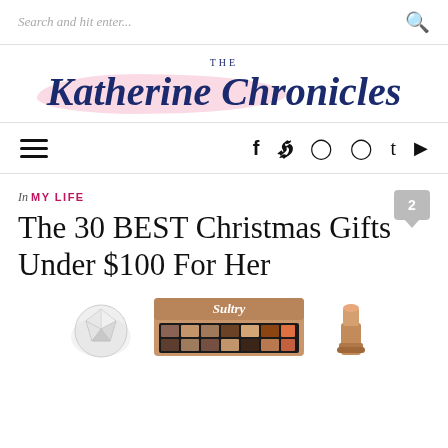Search and hit enter...
[Figure (logo): The Katherine Chronicles script logo with pink highlight brush stroke]
Hamburger menu and social icons: f (Facebook), Twitter, Instagram, Pinterest, Tumblr, YouTube
In MY LIFE
The 30 BEST Christmas Gifts Under $100 For Her
[Figure (photo): Product photos: diamond stud earring, Sultry eyeshadow palette, camel/tan lipstick]